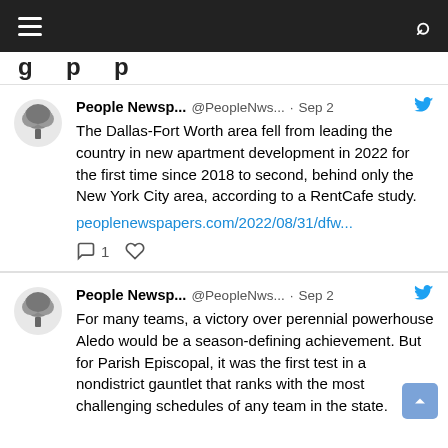People Newspapers - Twitter feed header
g p p
People Newsp... @PeopleNws... · Sep 2 — The Dallas-Fort Worth area fell from leading the country in new apartment development in 2022 for the first time since 2018 to second, behind only the New York City area, according to a RentCafe study. peoplenewspapers.com/2022/08/31/dfw...
People Newsp... @PeopleNws... · Sep 2 — For many teams, a victory over perennial powerhouse Aledo would be a season-defining achievement. But for Parish Episcopal, it was the first test in a nondistrict gauntlet that ranks with the most challenging schedules of any team in the state.